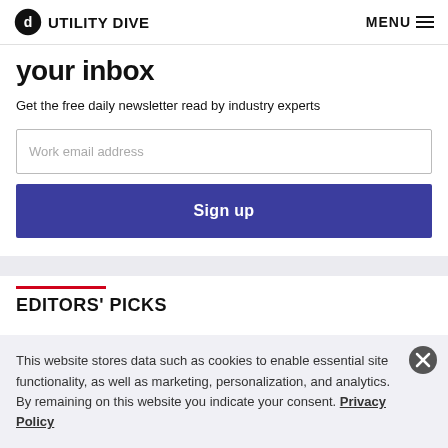UTILITY DIVE | MENU
your inbox
Get the free daily newsletter read by industry experts
Work email address
Sign up
EDITORS' PICKS
This website stores data such as cookies to enable essential site functionality, as well as marketing, personalization, and analytics. By remaining on this website you indicate your consent. Privacy Policy